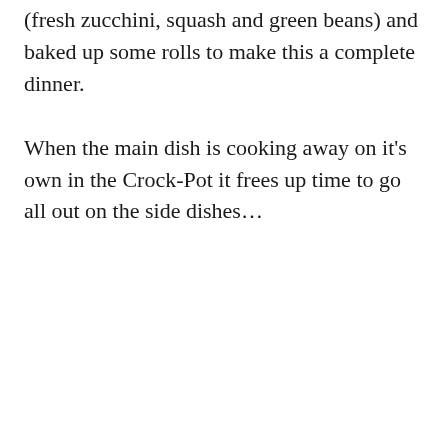(fresh zucchini, squash and green beans) and baked up some rolls to make this a complete dinner.
When the main dish is cooking away on it's own in the Crock-Pot it frees up time to go all out on the side dishes…